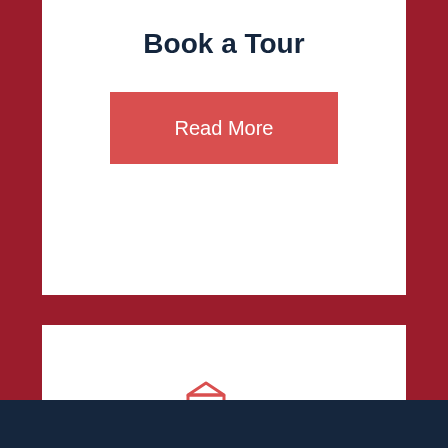Book a Tour
Read More
[Figure (illustration): Building/school icon — outline of a multi-story office/school building in coral/red color]
About Our School
Read More